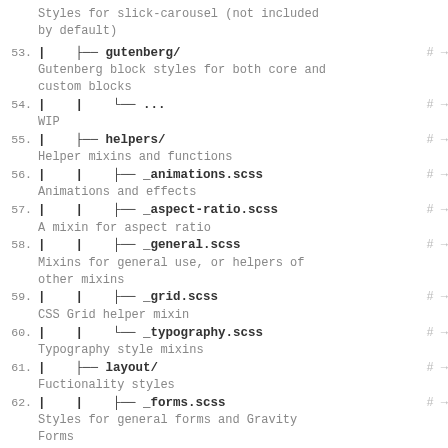Styles for slick-carousel (not included by default)
53.  |    ├── gutenberg/   # →
Gutenberg block styles for both core and custom blocks
54.  |    |    └── ...   # →
WIP
55.  |    ├── helpers/   # →
Helper mixins and functions
56.  |    |    ├── _animations.scss   # →
Animations and effects
57.  |    |    ├── _aspect-ratio.scss   # →
A mixin for aspect ratio
58.  |    |    ├── _general.scss   # →
Mixins for general use, or helpers of other mixins
59.  |    |    ├── _grid.scss   # →
CSS Grid helper mixin
60.  |    |    └── _typography.scss   # →
Typography style mixins
61.  |    ├── layout/   # →
Fuctionality styles
62.  |    |    ├── _forms.scss   # →
Styles for general forms and Gravity Forms